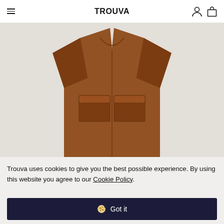TROUVA
[Figure (photo): Brown leather jacket with two front patch pockets, laid flat on a light grey/beige background, shot from above showing the front torso area with arms slightly outstretched.]
Trouva uses cookies to give you the best possible experience. By using this website you agree to our Cookie Policy.
Got it